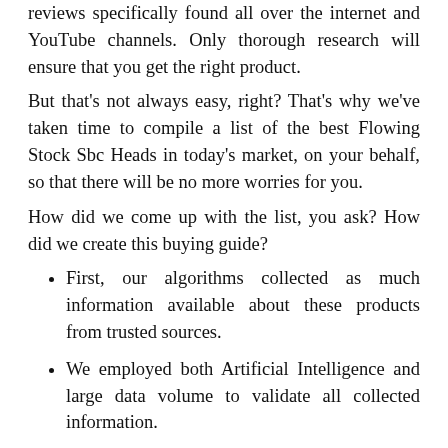reviews specifically found all over the internet and YouTube channels. Only thorough research will ensure that you get the right product.
But that's not always easy, right? That's why we've taken time to compile a list of the best Flowing Stock Sbc Heads in today's market, on your behalf, so that there will be no more worries for you.
How did we come up with the list, you ask? How did we create this buying guide?
First, our algorithms collected as much information available about these products from trusted sources.
We employed both Artificial Intelligence and large data volume to validate all collected information.